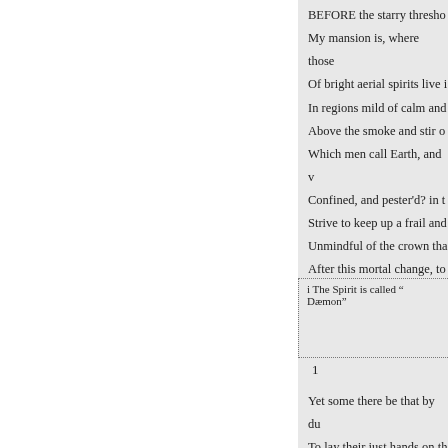BEFORE the starry threshold
My mansion is, where those
Of bright aerial spirits live i
In regions mild of calm and
Above the smoke and stir o
Which men call Earth, and v
Confined, and pester'd? in t
Strive to keep up a frail and
Unmindful of the crown tha
After this mortal change, to
Amongst the enthroned God
i The Spirit is called " Dæmon"
1
Yet some there be that by du
To lay their just hands on th
That opes the palace of eter
To such my errand is; and b
I would not soil these pure